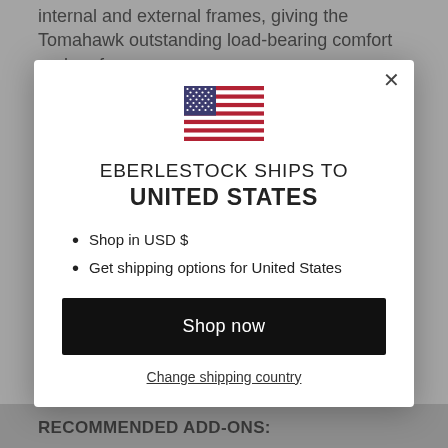internal and external frames, giving the Tomahawk outstanding load-bearing comfort and performance.
[Figure (illustration): US flag icon]
EBERLESTOCK SHIPS TO UNITED STATES
Shop in USD $
Get shipping options for United States
Shop now
Change shipping country
RECOMMENDED ADD-ONS: